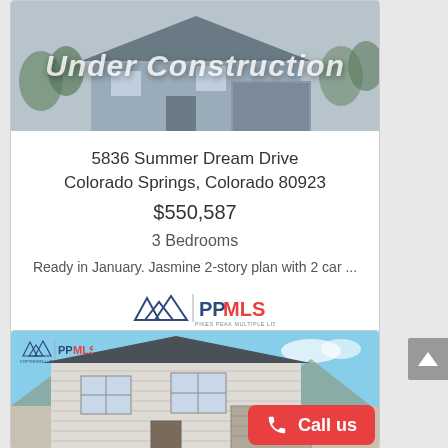[Figure (photo): House under construction — gray exterior, two-story home with garage, overlaid with 'Under Construction' text in white italic]
5836 Summer Dream Drive
Colorado Springs, Colorado 80923
$550,587
3 Bedrooms
Ready in January. Jasmine 2-story plan with 2 car ...
[Figure (logo): Pikes Peak Multiple Listing Service (PPMLS) logo with mountain icon]
[Figure (photo): Two-story house with light beige/gray siding, mountains in background, blue sky. PPMLS copyright watermark in top-left corner.]
Call us